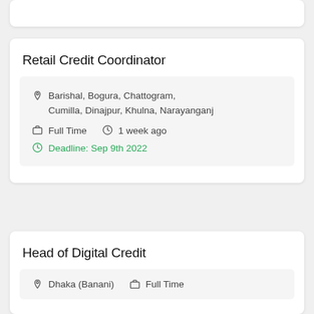Retail Credit Coordinator
Barishal, Bogura, Chattogram, Cumilla, Dinajpur, Khulna, Narayanganj
Full Time   1 week ago
Deadline: Sep 9th 2022
Head of Digital Credit
Dhaka (Banani)   Full Time